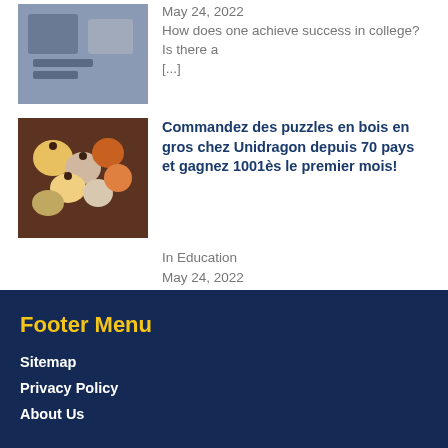May 24, 2022
How does one achieve success in college? Is there a [...]
[Figure (photo): Puzzle pieces scattered on a dark wooden table, colorful wooden jigsaw pieces]
Commandez des puzzles en bois en gros chez Unidragon depuis 70 pays et gagnez 1001ès le premier mois!
In Education
May 24, 2022
Unidragon fabrique des produits qui sont vendus avec [...]
Footer Menu
Sitemap
Privacy Policy
About Us